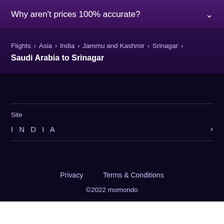Why aren't prices 100% accurate?
Flights > Asia > India > Jammu and Kashmir > Srinagar > Saudi Arabia to Srinagar
Site
I N D I A
Privacy
Terms & Conditions
©2022 momondo